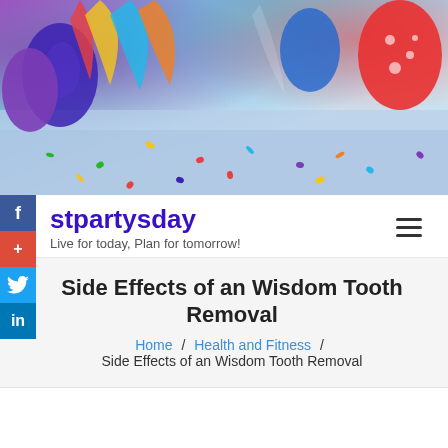[Figure (photo): Hero image showing colorful party balloons and confetti scattered on a table, with purple, red, blue, yellow and multicolored decorations.]
stpartysday
Live for today, Plan for tomorrow!
Side Effects of an Wisdom Tooth Removal
Home / Health and Fitness /
Side Effects of an Wisdom Tooth Removal